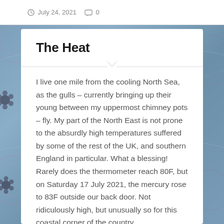July 24, 2021  0
The Heat
I live one mile from the cooling North Sea, as the gulls – currently bringing up their young between my uppermost chimney pots – fly. My part of the North East is not prone to the absurdly high temperatures suffered by some of the rest of the UK, and southern England in particular. What a blessing!
Rarely does the thermometer reach 80F, but on Saturday 17 July 2021, the mercury rose to 83F outside our back door. Not ridiculously high, but unusually so for this coastal corner of the country.
Over the years, I have spent hours in the cricket